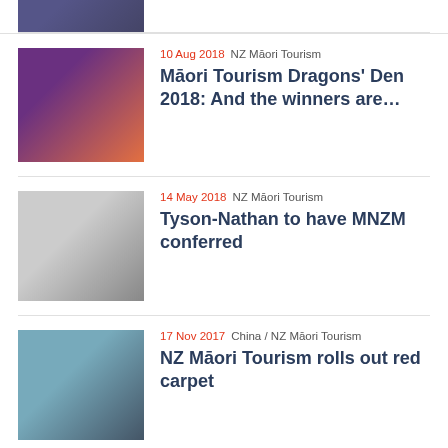[Figure (photo): Partial top image of birds/nature, cropped at top of page]
[Figure (photo): Group of people at event holding large cheque]
10 Aug 2018  NZ Māori Tourism
Māori Tourism Dragons' Den 2018: And the winners are…
[Figure (photo): Portrait of a smiling woman with grey hair in black jacket]
14 May 2018  NZ Māori Tourism
Tyson-Nathan to have MNZM conferred
[Figure (photo): Building exterior with crowd gathered outside]
17 Nov 2017  China / NZ Māori Tourism
NZ Māori Tourism rolls out red carpet
[Figure (photo): Partial image with flags, cut off at bottom]
4 Jul 2017  Māori / NZ Māori Tourism
Tourism hala Māori...